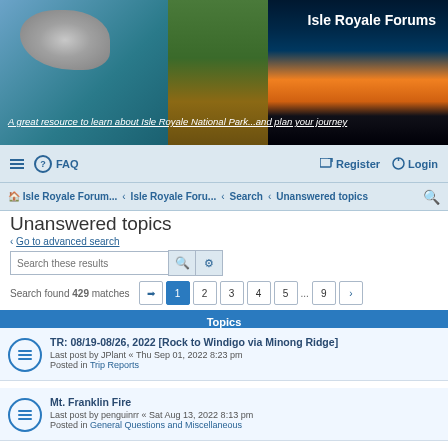[Figure (photo): Banner with three photos of Isle Royale National Park — rocky shore with turquoise water, forest trail, and lake at sunset — with title 'Isle Royale Forums' and subtitle 'A great resource to learn about Isle Royale National Park...and plan your journey']
≡  ● FAQ    ☑ Register  ⏻ Login
⌂ Isle Royale Forum...  ‹  Isle Royale Foru...  ‹  Search  ‹  Unanswered topics  🔍
Unanswered topics
‹ Go to advanced search
Search these results
Search found 429 matches
Topics
TR: 08/19-08/26, 2022 [Rock to Windigo via Minong Ridge]
Last post by JPlant « Thu Sep 01, 2022 8:23 pm
Posted in Trip Reports
Mt. Franklin Fire
Last post by penguinrr « Sat Aug 13, 2022 8:13 pm
Posted in General Questions and Miscellaneous